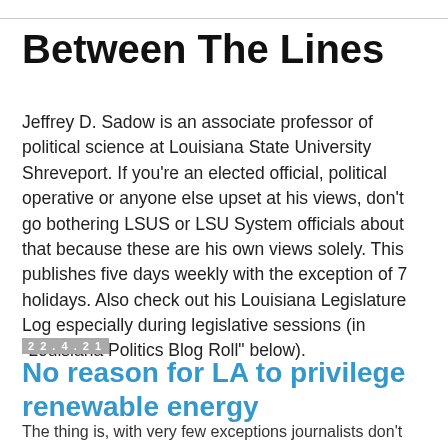Between The Lines
Jeffrey D. Sadow is an associate professor of political science at Louisiana State University Shreveport. If you're an elected official, political operative or anyone else upset at his views, don't go bothering LSUS or LSU System officials about that because these are his own views solely. This publishes five days weekly with the exception of 7 holidays. Also check out his Louisiana Legislature Log especially during legislative sessions (in "Louisiana Politics Blog Roll" below).
22.4.21
No reason for LA to privilege renewable energy
The thing is, with very few exceptions journalists don't know what they don't know. Throw in the public policy subject least critically